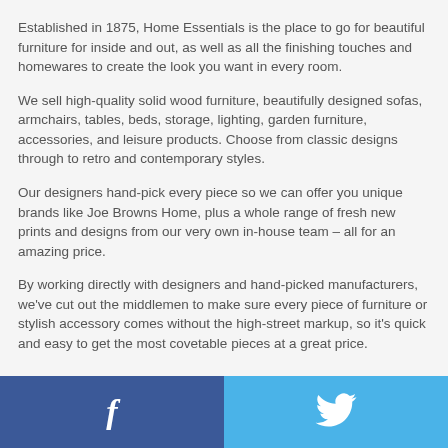Established in 1875, Home Essentials is the place to go for beautiful furniture for inside and out, as well as all the finishing touches and homewares to create the look you want in every room.
We sell high-quality solid wood furniture, beautifully designed sofas, armchairs, tables, beds, storage, lighting, garden furniture, accessories, and leisure products. Choose from classic designs through to retro and contemporary styles.
Our designers hand-pick every piece so we can offer you unique brands like Joe Browns Home, plus a whole range of fresh new prints and designs from our very own in-house team – all for an amazing price.
By working directly with designers and hand-picked manufacturers, we've cut out the middlemen to make sure every piece of furniture or stylish accessory comes without the high-street markup, so it's quick and easy to get the most covetable pieces at a great price.
[Figure (other): Social media share bar with Facebook (blue, left) and Twitter (light blue, right) buttons]